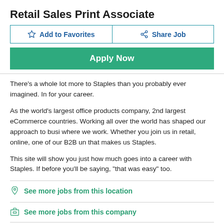Retail Sales Print Associate
Add to Favorites | Share Job
Apply Now
There’s a whole lot more to Staples than you probably ever imagined. In for your career.
As the world’s largest office products company, 2nd largest eCommerce countries. Working all over the world has shaped our approach to busi where we work. Whether you join us in retail, online, one of our B2B un that makes us Staples.
This site will show you just how much goes into a career with Staples. If before you’ll be saying, “that was easy” too.
See more jobs from this location
See more jobs from this company